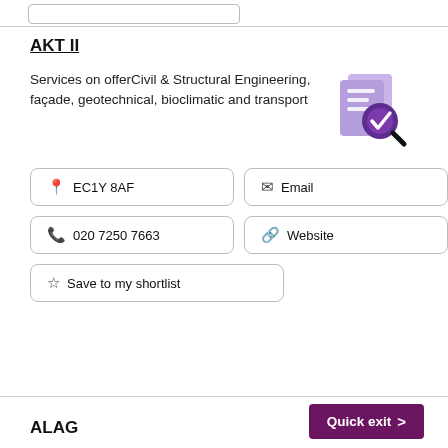AKT II
Services on offerCivil & Structural Engineering, façade, geotechnical, bioclimatic and transport
[Figure (illustration): Purple document icon with a magnifying glass and checkmark]
📍 EC1Y 8AF
✉ Email
📞 020 7250 7663
🔗 Website
☆ Save to my shortlist
Quick exit >
ALAG